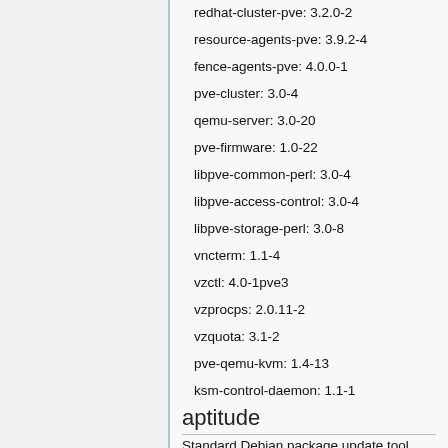redhat-cluster-pve: 3.2.0-2
resource-agents-pve: 3.9.2-4
fence-agents-pve: 4.0.0-1
pve-cluster: 3.0-4
qemu-server: 3.0-20
pve-firmware: 1.0-22
libpve-common-perl: 3.0-4
libpve-access-control: 3.0-4
libpve-storage-perl: 3.0-8
vncterm: 1.1-4
vzctl: 4.0-1pve3
vzprocps: 2.0.11-2
vzquota: 3.1-2
pve-qemu-kvm: 1.4-13
ksm-control-daemon: 1.1-1
aptitude
Standard Debian package update tool